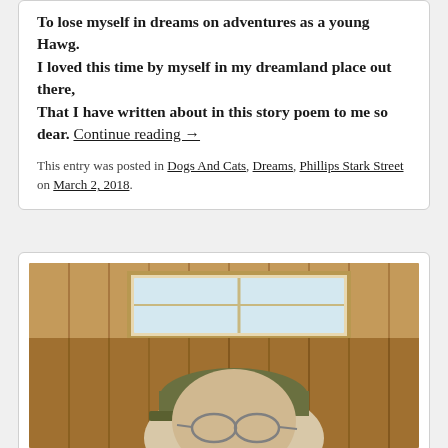To lose myself in dreams on adventures as a young Hawg.
I loved this time by myself in my dreamland place out there,
That I have written about in this story poem to me so dear. Continue reading →
This entry was posted in Dogs And Cats, Dreams, Phillips Stark Street on March 2, 2018.
[Figure (photo): An elderly man wearing glasses and a camouflage baseball cap, seated indoors near a window with wood-paneled walls in the background.]